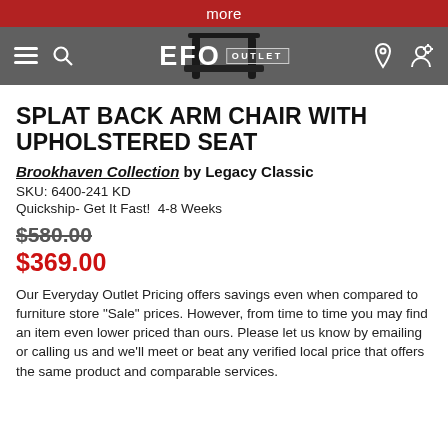more
[Figure (screenshot): EFO Outlet navigation bar with hamburger menu, search icon, EFO OUTLET logo, location pin icon, and cart icon. A dark chair image is partially visible behind the logo area.]
SPLAT BACK ARM CHAIR WITH UPHOLSTERED SEAT
Brookhaven Collection by Legacy Classic
SKU: 6400-241 KD
Quickship- Get It Fast!  4-8 Weeks
$580.00
$369.00
Our Everyday Outlet Pricing offers savings even when compared to furniture store "Sale" prices. However, from time to time you may find an item even lower priced than ours. Please let us know by emailing or calling us and we'll meet or beat any verified local price that offers the same product and comparable services.